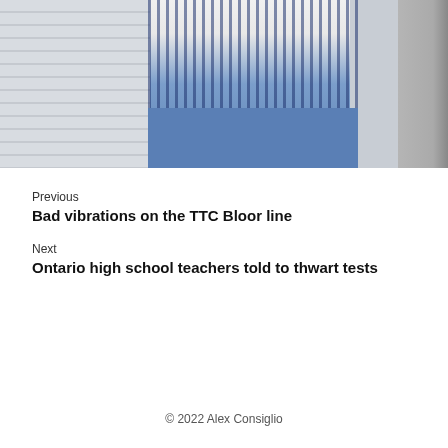[Figure (photo): Person sitting outdoors wearing a blue and white striped shirt and jeans, with a cigarette, next to a building with siding and a black iron railing]
Previous
Bad vibrations on the TTC Bloor line
Next
Ontario high school teachers told to thwart tests
© 2022 Alex Consiglio